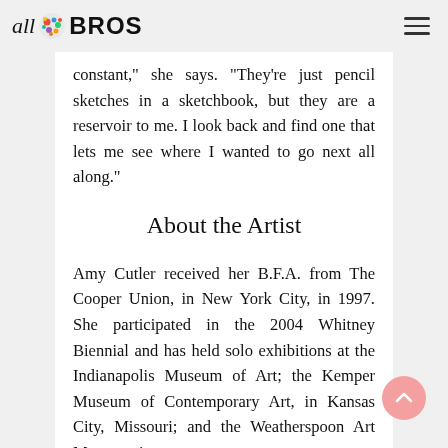all BROS
constant," she says. "They're just pencil sketches in a sketchbook, but they are a reservoir to me. I look back and find one that lets me see where I wanted to go next all along."
About the Artist
Amy Cutler received her B.F.A. from The Cooper Union, in New York City, in 1997. She participated in the 2004 Whitney Biennial and has held solo exhibitions at the Indianapolis Museum of Art; the Kemper Museum of Contemporary Art, in Kansas City, Missouri; and the Weatherspoon Art Museum, in